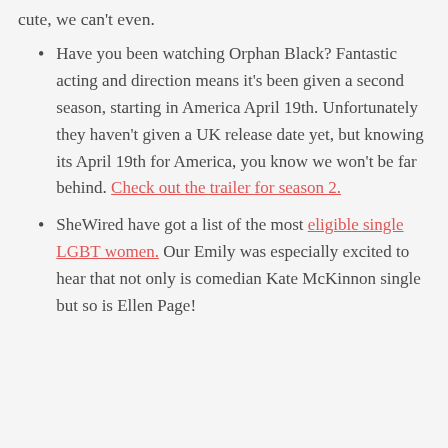cute, we can't even.
Have you been watching Orphan Black? Fantastic acting and direction means it's been given a second season, starting in America April 19th. Unfortunately they haven't given a UK release date yet, but knowing its April 19th for America, you know we won't be far behind. Check out the trailer for season 2.
SheWired have got a list of the most eligible single LGBT women. Our Emily was especially excited to hear that not only is comedian Kate McKinnon single but so is Ellen Page!